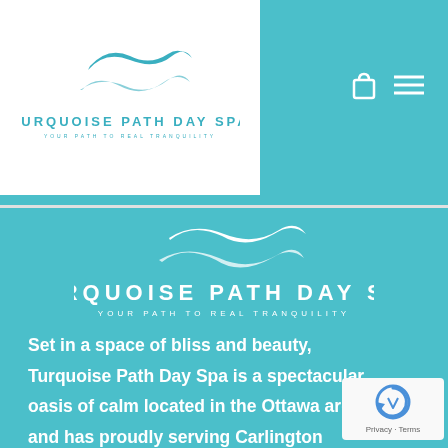[Figure (logo): Turquoise Path Day Spa logo in white box in header — stylized wave icon above text TURQUOISE PATH DAY SPA / YOUR PATH TO REAL TRANQUILITY]
[Figure (logo): Turquoise Path Day Spa large white logo centered on turquoise background — stylized wave icon above text TURQUOISE PATH DAY SPA / YOUR PATH TO REAL TRANQUILITY]
Set in a space of bliss and beauty, Turquoise Path Day Spa is a spectacular oasis of calm located in the Ottawa area, and has proudly serving Carlington community for more than 12 years.